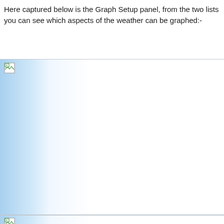Here captured below is the Graph Setup panel, from the two lists you can see which aspects of the weather can be graphed:-
[Figure (screenshot): Graph Setup panel screenshot with blue gradient background on left side, image failed to load (broken image icon shown in top-left corner)]
[Figure (screenshot): Second screenshot region with broken image icon shown in top-left corner, partially visible at bottom of page]